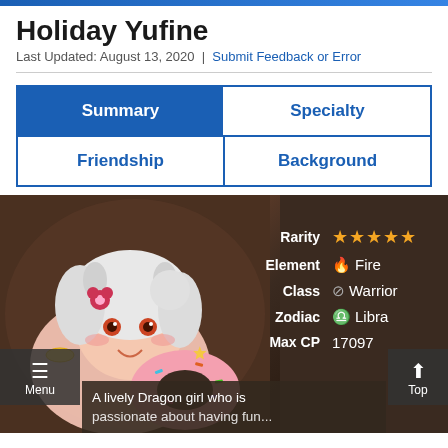Holiday Yufine
Last Updated: August 13, 2020 | Submit Feedback or Error
| Summary | Specialty |
| Friendship | Background |
[Figure (illustration): Holiday Yufine character illustration — anime-style dragon girl with white hair, animal ears, flower hair clip, holding a pink donut, beach/holiday theme. Overlaid stats: Rarity 5 stars, Element Fire, Class Warrior, Zodiac Libra, Max CP 17097. Description text: A lively Dragon girl who is passionate about having fun...]
A lively Dragon girl who is passionate about having fun...